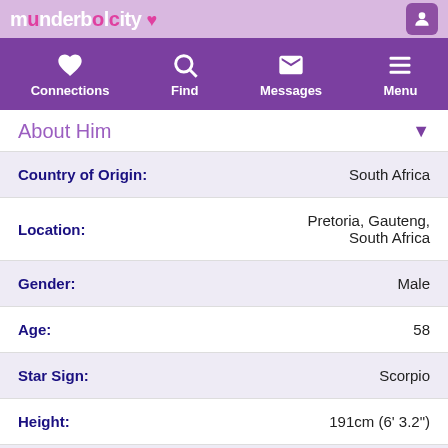munderbolcity
| Field | Value |
| --- | --- |
| Country of Origin: | South Africa |
| Location: | Pretoria, Gauteng, South Africa |
| Gender: | Male |
| Age: | 58 |
| Star Sign: | Scorpio |
| Height: | 191cm (6' 3.2") |
| Body Type: | Ask me later |